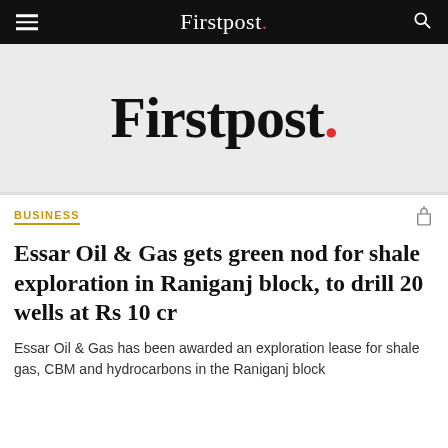Firstpost.
[Figure (logo): Firstpost logo — large serif wordmark with red dot on light grey background]
BUSINESS
Essar Oil & Gas gets green nod for shale exploration in Raniganj block, to drill 20 wells at Rs 10 cr
Essar Oil & Gas has been awarded an exploration lease for shale gas, CBM and hydrocarbons in the Raniganj block